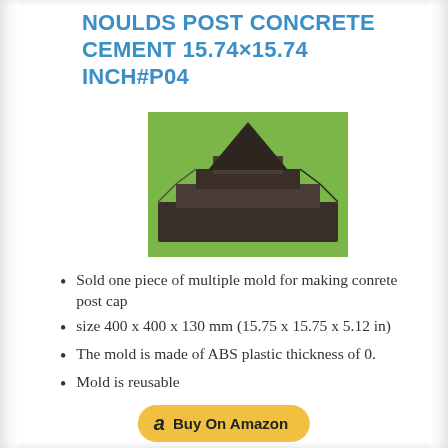NOULDS POST CONCRETE CEMENT 15.74×15.74 INCH#P04
[Figure (photo): Dark brown/black plastic mold for concrete post cap, pyramid-stepped shape, photographed on green grass background]
Sold one piece of multiple mold for making conrete post cap
size 400 x 400 x 130 mm (15.75 x 15.75 x 5.12 in)
The mold is made of ABS plastic thickness of 0.
Mold is reusable
[Figure (logo): Amazon 'Buy On Amazon' button in gold/yellow pill shape with Amazon lowercase 'a' logo]